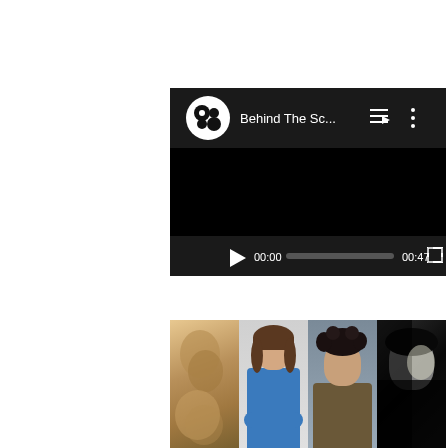[Figure (screenshot): YouTube/video player interface showing a video titled 'Behind The Sc...' with a black screen, play button, timeline showing 00:00 / 00:47, and a circular logo with bubble-like shapes in white on black background. Controls include playlist and more options icons.]
[Figure (photo): Four artist/musician photos side by side: first shows two people lying down with warm tones, second shows a woman in a blue turtleneck sweater with arms crossed, third shows a man with curly hair in a brown shirt against gray background, fourth is a black and white close-up of a person's face.]